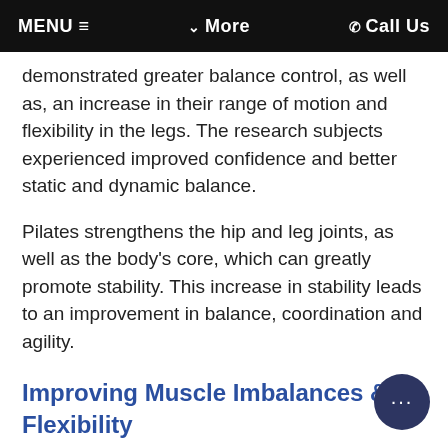MENU ≡   ⌄ More   ✆ Call Us
demonstrated greater balance control, as well as, an increase in their range of motion and flexibility in the legs. The research subjects experienced improved confidence and better static and dynamic balance.
Pilates strengthens the hip and leg joints, as well as the body's core, which can greatly promote stability. This increase in stability leads to an improvement in balance, coordination and agility.
Improving Muscle Imbalances & Flexibility
An imbalance between your strength and flexibility can sometimes lead to...